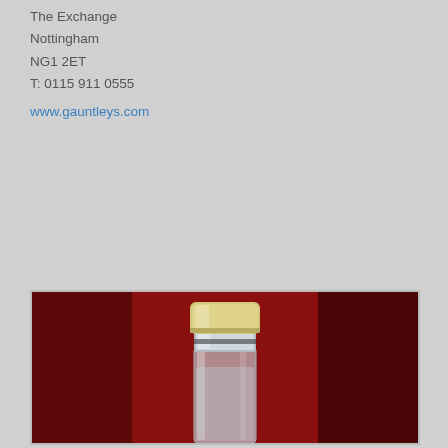The Exchange
Nottingham
NG1 2ET
T: 0115 911 0555
www.gauntleys.com
[Figure (photo): Close-up photograph of what appears to be a bottle or tube with a cream/yellow top and metallic/chrome lower section, photographed against a dark red velvet background.]